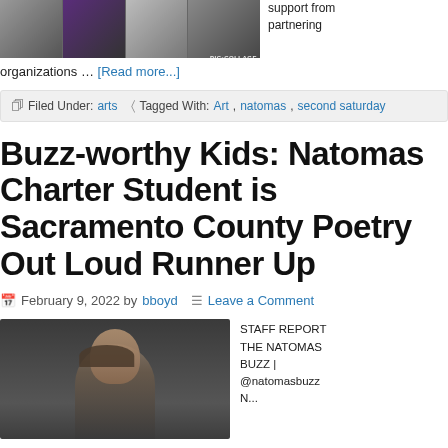[Figure (photo): Strip of four photos with PIC•COLLAGE watermark in the corner]
support from partnering organizations … [Read more...]
Filed Under: arts   Tagged With: Art, natomas, second saturday
Buzz-worthy Kids: Natomas Charter Student is Sacramento County Poetry Out Loud Runner Up
February 9, 2022 by bboyd   Leave a Comment
[Figure (photo): Photo of a young person with dark hair in front of a dark background]
STAFF REPORT THE NATOMAS BUZZ | @natomasbuzz